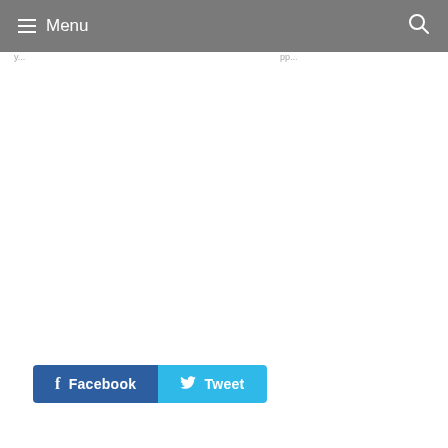Menu
y...
pp...
[Figure (screenshot): Social share buttons: Facebook and Tweet]
Facebook
Tweet